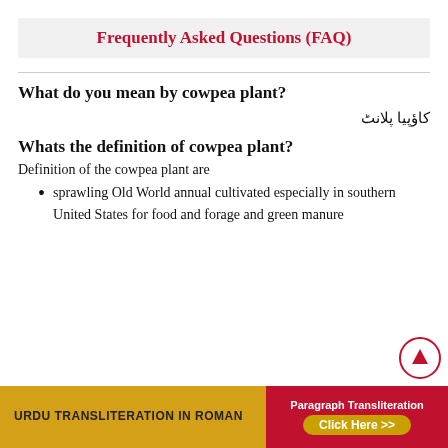Frequently Asked Questions (FAQ)
What do you mean by cowpea plant?
کاؤپیا پلانٹ
Whats the definition of cowpea plant?
Definition of the cowpea plant are
sprawling Old World annual cultivated especially in southern United States for food and forage and green manure
[Figure (other): Scroll-to-top button with upward arrow, red circle border]
Urdu Transliteration in Roman | Paragraph Transliteration Click Here >>